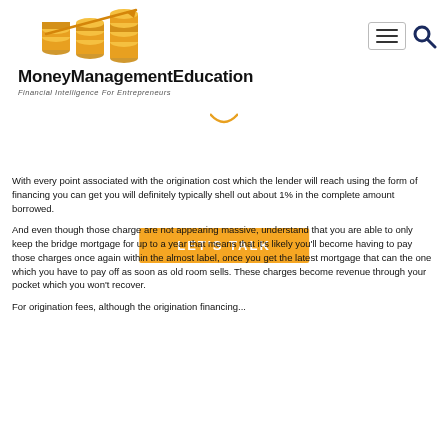[Figure (logo): MoneyManagementEducation logo with gold coin stacks and upward arrow, with text 'MoneyManagementEducation' and subtitle 'Financial Intelligence For Entrepreneurs']
[Figure (other): Hamburger menu button and search icon in top right navigation area]
[Figure (other): Orange 'LET'S TALK' call-to-action button]
With every point associated with the origination cost which the lender will reach using the form of financing you can get you will definitely typically shell out about 1% in the complete amount borrowed.
And even though those charge are not appearing massive, understand that you are able to only keep the bridge mortgage for up to a year that means that it's likely you'll become having to pay those charges once again within the almost label, once you get the latest mortgage that can the one which you have to pay off as soon as old room sells. These charges become revenue through your pocket which you won't recover.
For origination fees, although the origination financing...